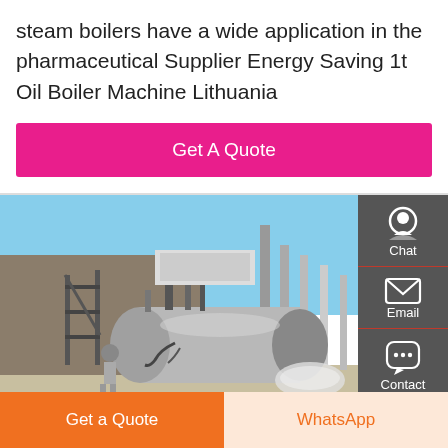steam boilers have a wide application in the pharmaceutical Supplier Energy Saving 1t Oil Boiler Machine Lithuania
Get A Quote
[Figure (photo): Industrial steam boiler installation outdoors with a worker, multiple cylindrical boiler units, pipes, scaffolding, and chimneys in background under blue sky]
Chat
Email
Contact
Get a Quote
WhatsApp